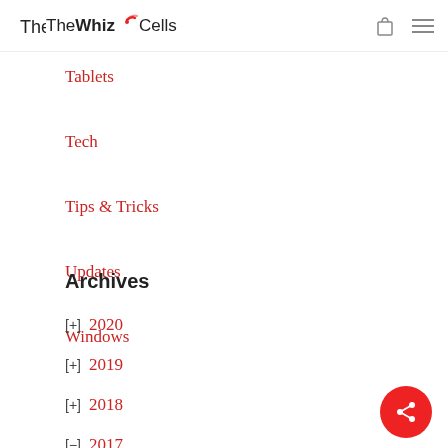The WhizCells
Tablets
Tech
Tips & Tricks
Updates
Windows
Archives
[+] 2020
[+] 2019
[+] 2018
[-] 2017
December